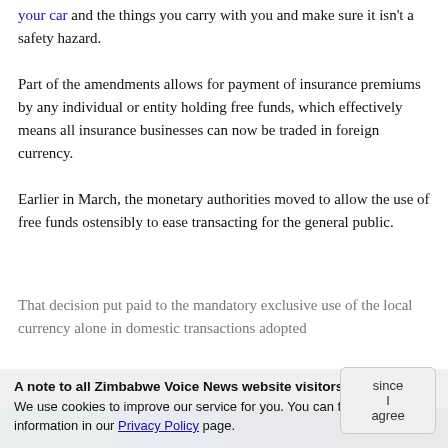your car and the things you carry with you and make sure it isn't a safety hazard.
Part of the amendments allows for payment of insurance premiums by any individual or entity holding free funds, which effectively means all insurance businesses can now be traded in foreign currency.
Earlier in March, the monetary authorities moved to allow the use of free funds ostensibly to ease transacting for the general public.
That decision put paid to the mandatory exclusive use of the local currency alone in domestic transactions adopted since
A note to all Zimbabwe Voice News website visitors:
We use cookies to improve our service for you. You can find more information in our Privacy Policy page.